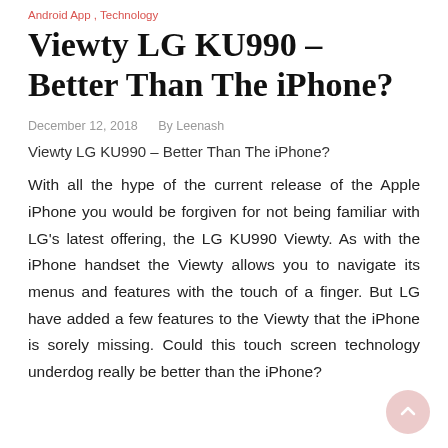Android App , Technology
Viewty LG KU990 – Better Than The iPhone?
December 12, 2018   By Leenash
Viewty LG KU990 – Better Than The iPhone?
With all the hype of the current release of the Apple iPhone you would be forgiven for not being familiar with LG's latest offering, the LG KU990 Viewty. As with the iPhone handset the Viewty allows you to navigate its menus and features with the touch of a finger. But LG have added a few features to the Viewty that the iPhone is sorely missing. Could this touch screen technology underdog really be better than the iPhone?